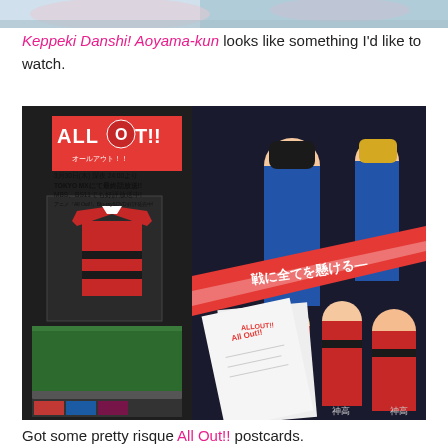[Figure (photo): Partial top image showing anime characters, cropped at the top of the page]
Keppeki Danshi! Aoyama-kun looks like something I'd like to watch.
[Figure (photo): All Out!! anime promotional display photo showing a framed rugby jersey, posters with Japanese text, promotional materials, and anime artwork featuring rugby players in red/black uniforms and blue uniforms]
Got some pretty risque All Out!! postcards.